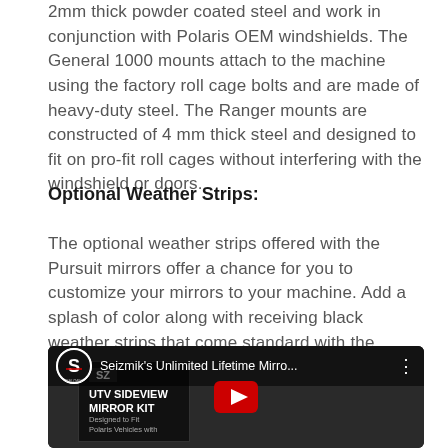2mm thick powder coated steel and work in conjunction with Polaris OEM windshields. The General 1000 mounts attach to the machine using the factory roll cage bolts and are made of heavy-duty steel. The Ranger mounts are constructed of 4 mm thick steel and designed to fit on pro-fit roll cages without interfering with the windshield or doors.
Optional Weather Strips:
The optional weather strips offered with the Pursuit mirrors offer a chance for you to customize your mirrors to your machine. Add a splash of color along with receiving black weather strips that come standard with the mirrors.
[Figure (screenshot): YouTube video thumbnail showing Seizmik's Unlimited Lifetime Mirror video, with a UTV Sideview Mirror Kit product box visible in the foreground and a YouTube play button overlay.]